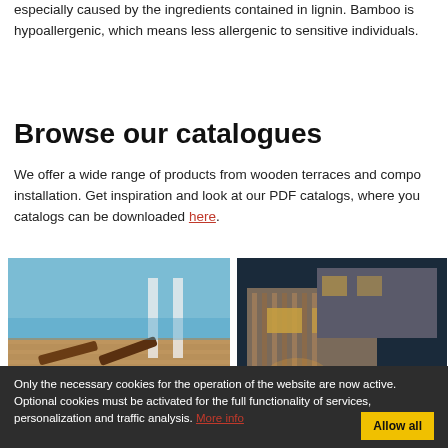especially caused by the ingredients contained in lignin. Bamboo is hypoallergenic, which means less allergenic to sensitive individuals.
Browse our catalogues
We offer a wide range of products from wooden terraces and compo... installation. Get inspiration and look at our PDF catalogs, where you... catalogs can be downloaded here.
[Figure (photo): Catalogue cover: Dřevěné a kompozitní terasy - wooden deck chairs on a composite terrace, PECHAR brand logo]
[Figure (photo): Catalogue cover: Dřevěné fasádní obklady - modern house with wooden facade cladding lit at night, PECHAR brand logo]
Only the necessary cookies for the operation of the website are now active. Optional cookies must be activated for the full functionality of services, personalization and traffic analysis. More info  Allow all
Related Products